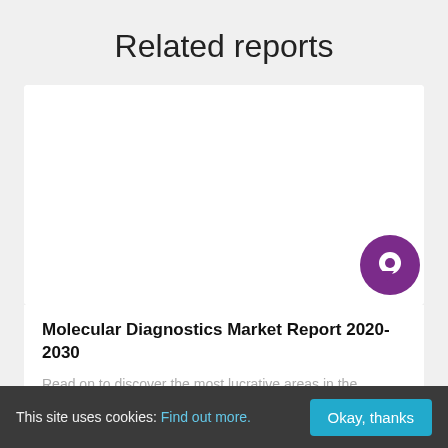Related reports
[Figure (other): White card area representing a report thumbnail image placeholder with a purple chat bubble icon in lower right]
Molecular Diagnostics Market Report 2020-2030
Read on to discover the most lucrative areas in the industry and the future market prospects. Our new
This site uses cookies: Find out more. Okay, thanks